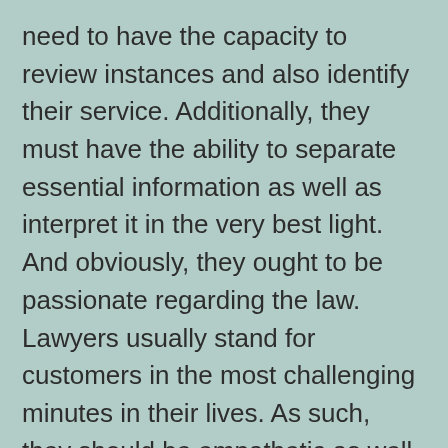need to have the capacity to review instances and also identify their service. Additionally, they must have the ability to separate essential information as well as interpret it in the very best light. And obviously, they ought to be passionate regarding the law. Lawyers usually stand for customers in the most challenging minutes in their lives. As such, they should be empathetic as well as compassionate. Regardless of this, legal representatives need to abide by rigorous ethics and also privacy regulations to guarantee their clients' well-being. immigration lawyer service